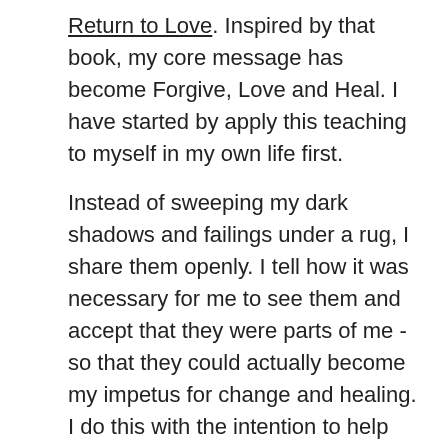Return to Love. Inspired by that book, my core message has become Forgive, Love and Heal. I have started by apply this teaching to myself in my own life first.
Instead of sweeping my dark shadows and failings under a rug, I share them openly. I tell how it was necessary for me to see them and accept that they were parts of me - so that they could actually become my impetus for change and healing. I do this with the intention to help others do the same.
Most profoundly, my entire outlook has changed. I am filled with a desire to help, to be of service - and to have my voice heard to help people heal. I have made changes in my life to make myself available to do this. To this day I feel that the ‘full’ meaning of